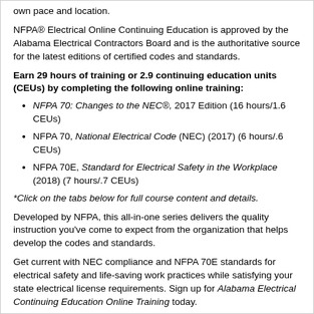own pace and location.
NFPA® Electrical Online Continuing Education is approved by the Alabama Electrical Contractors Board and is the authoritative source for the latest editions of certified codes and standards.
Earn 29 hours of training or 2.9 continuing education units (CEUs) by completing the following online training:
NFPA 70: Changes to the NEC®, 2017 Edition (16 hours/1.6 CEUs)
NFPA 70, National Electrical Code (NEC) (2017) (6 hours/.6 CEUs)
NFPA 70E, Standard for Electrical Safety in the Workplace (2018) (7 hours/.7 CEUs)
*Click on the tabs below for full course content and details.
Developed by NFPA, this all-in-one series delivers the quality instruction you've come to expect from the organization that helps develop the codes and standards.
Get current with NEC compliance and NFPA 70E standards for electrical safety and life-saving work practices while satisfying your state electrical license requirements. Sign up for Alabama Electrical Continuing Education Online Training today.
Upon completion of this training you should be able to:
Explain the organization and use of the NEC
Describe general requirements, conductor sizing, overcurrent protection, and grounding and bonding for systems and equipment